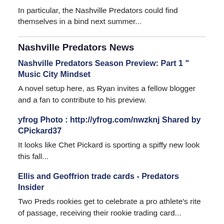In particular, the Nashville Predators could find themselves in a bind next summer...
Nashville Predators News
Nashville Predators Season Preview: Part 1 "Music City Mindset
A novel setup here, as Ryan invites a fellow blogger and a fan to contribute to his preview.
yfrog Photo : http://yfrog.com/nwzknj Shared by CPickard37
It looks like Chet Pickard is sporting a spiffy new look this fall...
Ellis and Geoffrion trade cards - Predators Insider
Two Preds rookies get to celebrate a pro athlete's rite of passage, receiving their rookie trading card...